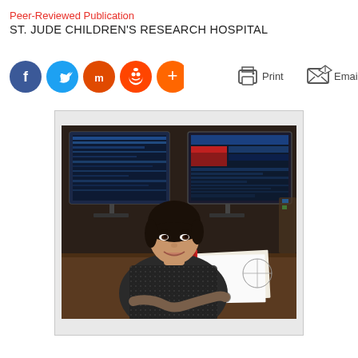Peer-Reviewed Publication
ST. JUDE CHILDREN'S RESEARCH HOSPITAL
[Figure (other): Social media share buttons: Facebook (blue circle), Twitter (light blue circle), Mix (orange circle), Reddit (red-orange circle), plus/share (orange circle); also Print and Email App action buttons with icons]
[Figure (photo): A woman of Asian descent with short dark hair, wearing a dark patterned jacket, sitting at a desk with two computer monitors displaying data/genomic visualizations behind her. She is smiling at the camera with papers on the desk in front of her.]